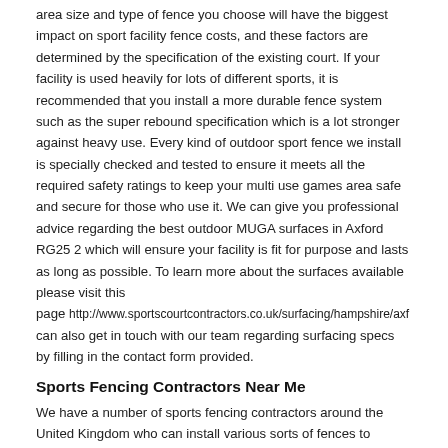area size and type of fence you choose will have the biggest impact on sport facility fence costs, and these factors are determined by the specification of the existing court. If your facility is used heavily for lots of different sports, it is recommended that you install a more durable fence system such as the super rebound specification which is a lot stronger against heavy use. Every kind of outdoor sport fence we install is specially checked and tested to ensure it meets all the required safety ratings to keep your multi use games area safe and secure for those who use it. We can give you professional advice regarding the best outdoor MUGA surfaces in Axford RG25 2 which will ensure your facility is fit for purpose and lasts as long as possible. To learn more about the surfaces available please visit this page http://www.sportscourtcontractors.co.uk/surfacing/hampshire/axf can also get in touch with our team regarding surfacing specs by filling in the contact form provided.
Sports Fencing Contractors Near Me
We have a number of sports fencing contractors around the United Kingdom who can install various sorts of fences to improve the overall look of your facility. As our fence we can practically place...